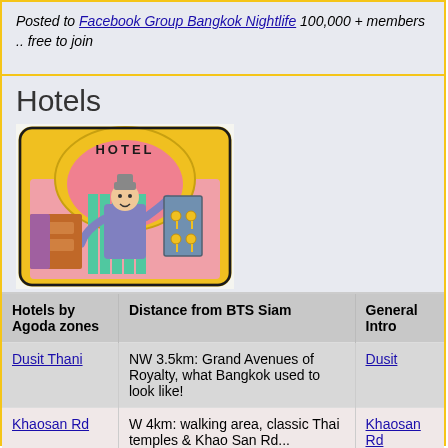Posted to Facebook Group Bangkok Nightlife  100,000 + members .. free to join
Hotels
[Figure (illustration): Cartoon illustration of a hotel bellhop/concierge standing behind a hotel desk with keys hanging on the wall, colorful clip-art style]
| Hotels by Agoda zones | Distance from BTS Siam | General Intro |
| --- | --- | --- |
| Dusit Thani | NW 3.5km: Grand Avenues of Royalty, what Bangkok used to look like! | Dusit |
| Khaosan Rd | W 4km: walking area, classic Thai temples & Khao San Rd... | Khaosan Rd |